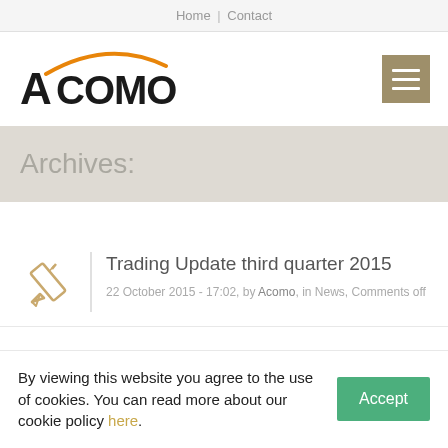Home | Contact
[Figure (logo): Acomo company logo with orange arc above the A]
Trading Update third quarter 2015
22 October 2015 - 17:02, by Acomo, in News, Comments off
Archives:
By viewing this website you agree to the use of cookies. You can read more about our cookie policy here.